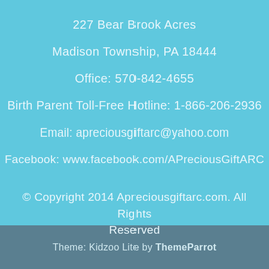227 Bear Brook Acres
Madison Township, PA 18444
Office: 570-842-4655
Birth Parent Toll-Free Hotline:  1-866-206-2936
Email: apreciousgiftarc@yahoo.com
Facebook: www.facebook.com/APreciousGiftARC
© Copyright 2014 Apreciousgiftarc.com. All Rights Reserved
Theme: Kidzoo Lite by ThemeParrot